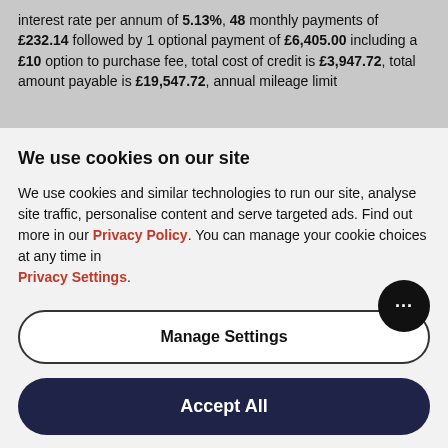interest rate per annum of 5.13%, 48 monthly payments of £232.14 followed by 1 optional payment of £6,405.00 including a £10 option to purchase fee, total cost of credit is £3,947.72, total amount payable is £19,547.72, annual mileage limit
We use cookies on our site
We use cookies and similar technologies to run our site, analyse site traffic, personalise content and serve targeted ads. Find out more in our Privacy Policy. You can manage your cookie choices at any time in Privacy Settings.